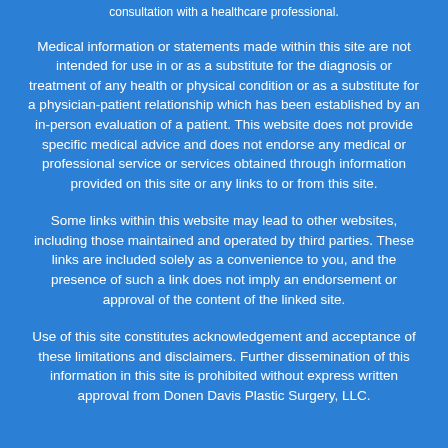consultation with a healthcare professional.
Medical information or statements made within this site are not intended for use in or as a substitute for the diagnosis or treatment of any health or physical condition or as a substitute for a physician-patient relationship which has been established by an in-person evaluation of a patient. This website does not provide specific medical advice and does not endorse any medical or professional service or services obtained through information provided on this site or any links to or from this site.
Some links within this website may lead to other websites, including those maintained and operated by third parties. These links are included solely as a convenience to you, and the presence of such a link does not imply an endorsement or approval of the content of the linked site.
Use of this site constitutes acknowledgement and acceptance of these limitations and disclaimers. Further dissemination of this information in this site is prohibited without express written approval from Donen Davis Plastic Surgery, LLC.